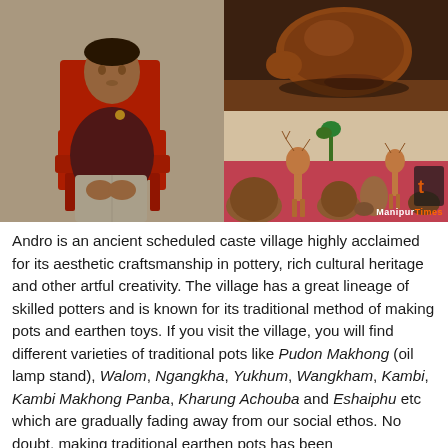[Figure (photo): Left: A man in a dark maroon shirt sitting on a red plastic chair with hands clasped. Right top: A brown clay turtle or animal figurine on a pedestal, photographed against a dark background. Right bottom: A collection of clay/earthen animal figurines (deer, turtles, frogs) and other crafts displayed on a pink/red cloth surface, with a 'Manipurtimes' watermark in the lower right corner.]
Andro is an ancient scheduled caste village highly acclaimed for its aesthetic craftsmanship in pottery, rich cultural heritage and other artful creativity. The village has a great lineage of skilled potters and is known for its traditional method of making pots and earthen toys. If you visit the village, you will find different varieties of traditional pots like Pudon Makhong (oil lamp stand), Walom, Ngangkha, Yukhum, Wangkham, Kambi, Kambi Makhong Panba, Kharung Achouba and Eshaiphu etc which are gradually fading away from our social ethos. No doubt, making traditional earthen pots has been